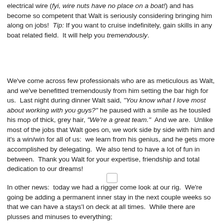electrical wire (fyi, wire nuts have no place on a boat!) and has become so competent that Walt is seriously considering bringing him along on jobs!  Tip: If you want to cruise indefinitely, gain skills in any boat related field.  It will help you tremendously.
We've come across few professionals who are as meticulous as Walt, and we've benefitted tremendously from him setting the bar high for us.  Last night during dinner Walt said, "You know what I love most about working with you guys?" he paused with a smile as he tousled his mop of thick, grey hair, "We're a great team."  And we are.  Unlike most of the jobs that Walt goes on, we work side by side with him and it's a win/win for all of us:  we learn from his genius, and he gets more accomplished by delegating.  We also tend to have a lot of fun in between.  Thank you Walt for your expertise, friendship and total dedication to our dreams!
In other news:  today we had a rigger come look at our rig.  We're going be adding a permanent inner stay in the next couple weeks so that we can have a stays'l on deck at all times.  While there are plusses and minuses to everything;